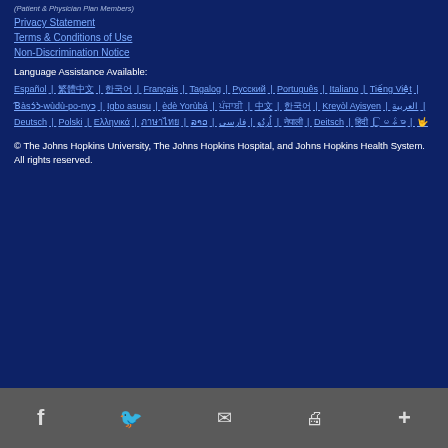(Patient & Physician Plan Members)
Privacy Statement
Terms & Conditions of Use
Non-Discrimination Notice
Language Assistance Available:
Español | 繁體中文 | 한국어 | Français | Tagalog | Русский | Português | Italiano | Tiếng Việt | Ɓàsɔ́ɔ̀-wùd | ù-po-nyɔ | Igbo asusu | èdè Yorùbá | ਪੰਜਾਬੀ | 中文 | 한국어 | Kreyòl Ayisyen | العربية | Deutsch | Polski | Ελληνικά | ภาษาไทย | ລາວ | اُردُو | فارسی | नेपाली | Deitsch | हिंदी | မြန်မာ | ASL
© The Johns Hopkins University, The Johns Hopkins Hospital, and Johns Hopkins Health System. All rights reserved.